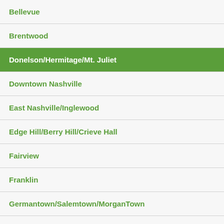Bellevue
Brentwood
Donelson/Hermitage/Mt. Juliet
Downtown Nashville
East Nashville/Inglewood
Edge Hill/Berry Hill/Crieve Hall
Fairview
Franklin
Germantown/Salemtown/MorganTown
Green Hills
Hendersonville/Gallatin
Madison/Old Hickory